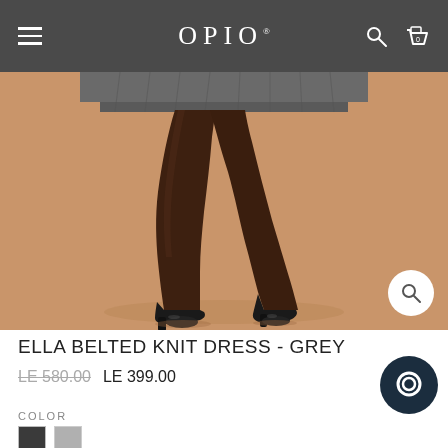OPIO
[Figure (photo): Product photo showing lower half of a model wearing a grey knit dress with black tights and black heels, against a tan/beige background. A magnifying glass zoom icon appears in the bottom right corner of the image.]
ELLA BELTED KNIT DRESS - GREY
LE 580.00  LE 399.00
COLOR